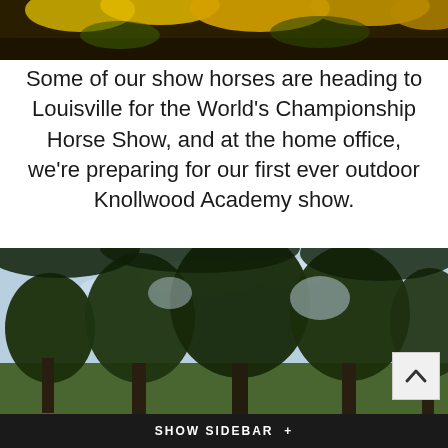[Figure (photo): Top portion of image showing yellow flowers and foliage with dark background]
Some of our show horses are heading to Louisville for the World’s Championship Horse Show, and at the home office, we’re preparing for our first ever outdoor Knollwood Academy show.
[Figure (photo): Outdoor scene with large green trees against a light blue sky, grassy field below, with a scroll-up button in bottom right corner]
SHOW SIDEBAR +